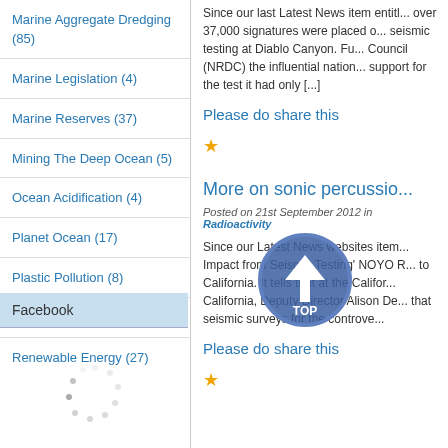Marine Aggregate Dredging (85)
Marine Legislation (4)
Marine Reserves (37)
Mining The Deep Ocean (5)
Ocean Acidification (4)
Planet Ocean (17)
Plastic Pollution (8)
Radioactivity (14)
Renewable Energy (27)
Facebook
Since our last Latest News item entitl... over 37,000 signatures were placed o... seismic testing at Diablo Canyon. Fu... Council (NRDC) the influential nation... support for the test it had only [...]
Please do share this
★
More on sonic percussio...
Posted on 21st September 2012 in Radioactivity
Since our Latest News websites item... Impact from Seismic Testing' NOYO R... to California. It tells that at the Califor... California, Deputy Director Alison De... that seismic surveys for the controve...
Please do share this
★